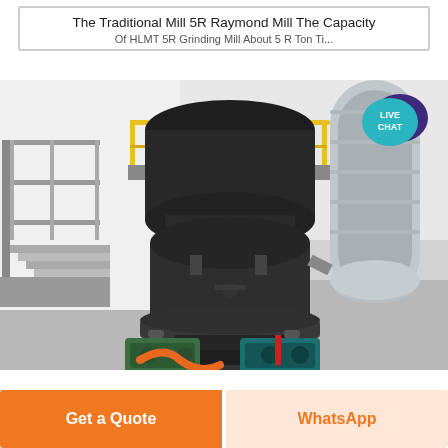The Traditional Mill 5R Raymond Mill The Capacity
[Figure (photo): Industrial Raymond Mill machine installed in a factory/workshop setting. Large dark grey cylindrical grinding mill with upper classifier section, connected to a large silver ventilation/exhaust duct on the right. Yellow safety railing and metal staircase visible in background. Green motor drive unit at base. Orange and blue auxiliary equipment visible at bottom.]
[Figure (logo): Live Chat badge - teal speech bubble with dark purple larger bubble behind it, text reads LIVE CHAT in white]
Get a Quote
WhatsApp